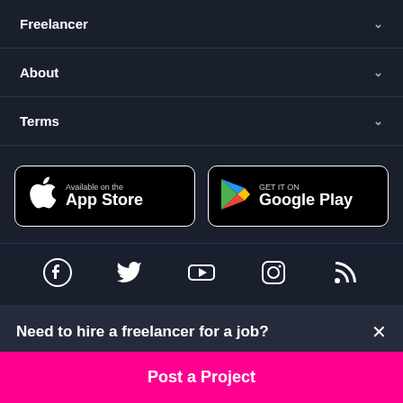Freelancer
About
Terms
[Figure (screenshot): App Store and Google Play store buttons]
[Figure (infographic): Social media icons: Facebook, Twitter, YouTube, Instagram, RSS]
Need to hire a freelancer for a job?
Post a Project